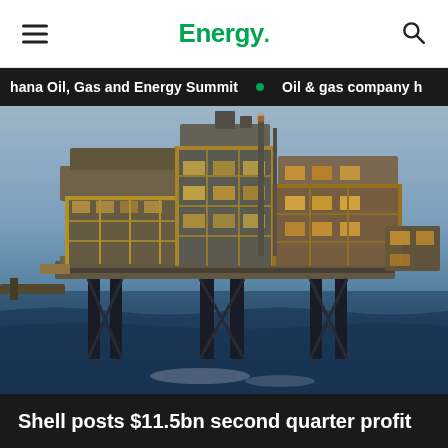Energy.
Ghana Oil, Gas and Energy Summit • Oil & gas company h
[Figure (photo): Aerial photograph of a large offshore oil and gas platform at sea, illuminated with yellow and white lights, surrounded by blue ocean water. The platform has complex multi-level industrial structures with yellow framework.]
Shell posts $11.5bn second quarter profit